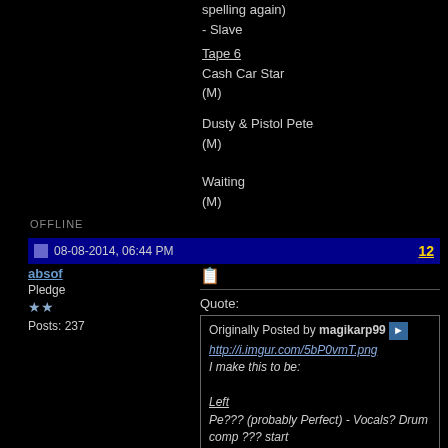spelling again)
- Slave
Tape 6
Cash Car Star
(M)
Dusty & Pistol Pete
(M)
Waiting
(M)
OFFLINE
08-08-2014, 06:44 PM
12
absof
Pledge
★★
Posts: 237
Quote:
Originally Posted by magikarp99
http://i.imgur.com/5bP0vmT.png
I make this to be:

Left
Pe??? (probably Perfect) - Vocals? Drum comp ??? start